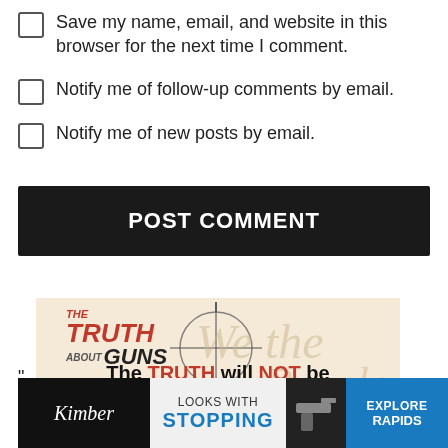Save my name, email, and website in this browser for the next time I comment.
Notify me of follow-up comments by email.
Notify me of new posts by email.
POST COMMENT
[Figure (logo): The Truth About Guns logo with crosshair graphic and parchment background. Text reads 'The TRUTH will NOT be silenced!']
[Figure (infographic): Kimber advertisement with 'LOOKS WITH STOPPING' text and 'EXPLORE' call to action button on blue background]